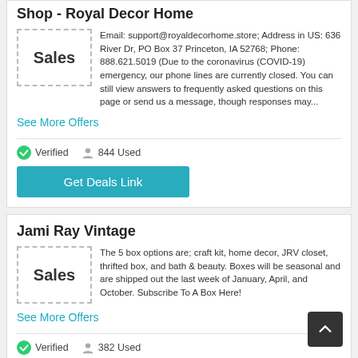Shop - Royal Decor Home
[Figure (other): Sales label box with dashed border]
Email: support@royaldecorhome.store; Address in US: 636 River Dr, PO Box 37 Princeton, IA 52768; Phone: 888.621.5019 (Due to the coronavirus (COVID-19) emergency, our phone lines are currently closed. You can still view answers to frequently asked questions on this page or send us a message, though responses may...
See More Offers
Verified   844 Used
Get Deals Link
Jami Ray Vintage
[Figure (other): Sales label box with dashed border]
The 5 box options are; craft kit, home decor, JRV closet, thrifted box, and bath & beauty. Boxes will be seasonal and are shipped out the last week of January, April, and October. Subscribe To A Box Here!
See More Offers
Verified   382 Used